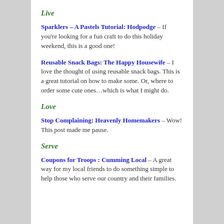Live
Sparklers – A Pastels Tutorial: Hodpodge – If you're looking for a fun craft to do this holiday weekend, this is a good one!
Reusable Snack Bags: The Happy Housewife – I love the thought of using reusable snack bags. This is a great tutorial on how to make some. Or, where to order some cute ones…which is what I might do.
Love
Stop Complaining: Heavenly Homemakers – Wow! This post made me pause.
Serve
Coupons for Troops : Cumming Local – A great way for my local friends to do something simple to help those who serve our country and their families.